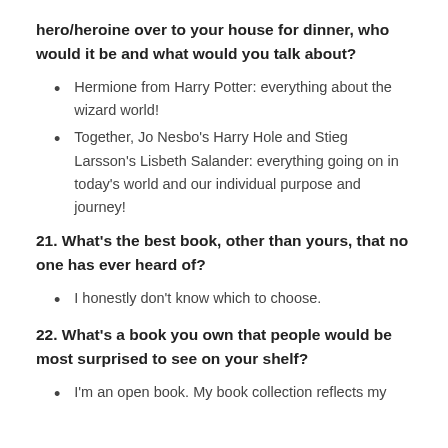hero/heroine over to your house for dinner, who would it be and what would you talk about?
Hermione from Harry Potter: everything about the wizard world!
Together, Jo Nesbo's Harry Hole and Stieg Larsson's Lisbeth Salander: everything going on in today's world and our individual purpose and journey!
21. What's the best book, other than yours, that no one has ever heard of?
I honestly don't know which to choose.
22. What's a book you own that people would be most surprised to see on your shelf?
I'm an open book. My book collection reflects my